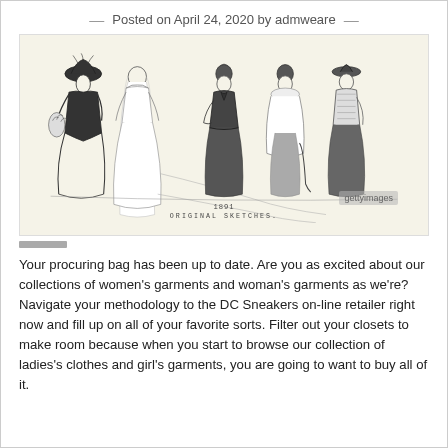— Posted on April 24, 2020 by admweare —
[Figure (illustration): Victorian-era fashion illustration showing six women in 1891 period dress, with the caption '1891 ORIGINAL SKETCHES.' A Getty Images watermark is visible in the lower right of the image.]
Your procuring bag has been up to date. Are you as excited about our collections of women's garments and woman's garments as we're? Navigate your methodology to the DC Sneakers on-line retailer right now and fill up on all of your favorite sorts. Filter out your closets to make room because when you start to browse our collection of ladies's clothes and girl's garments, you are going to want to buy all of it.